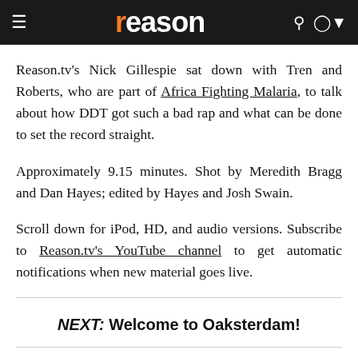reason
Reason.tv's Nick Gillespie sat down with Tren and Roberts, who are part of Africa Fighting Malaria, to talk about how DDT got such a bad rap and what can be done to set the record straight.
Approximately 9.15 minutes. Shot by Meredith Bragg and Dan Hayes; edited by Hayes and Josh Swain.
Scroll down for iPod, HD, and audio versions. Subscribe to Reason.tv's YouTube channel to get automatic notifications when new material goes live.
NEXT: Welcome to Oaksterdam!
HD Pen...